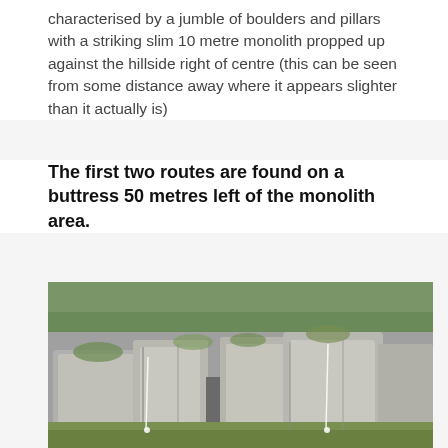characterised by a jumble of boulders and pillars with a striking slim 10 metre monolith propped up against the hillside right of centre (this can be seen from some distance away where it appears slighter than it actually is)
The first two routes are found on a buttress 50 metres left of the monolith area.
[Figure (photo): Outdoor photograph of a rocky hillside with large granite boulders and pillars, green grass and vegetation visible on the slopes. Climbing route lines are marked on the rocks.]